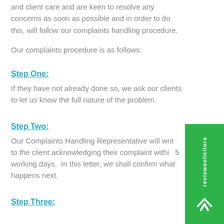and client care and are keen to resolve any concerns as soon as possible and in order to do this, will follow our complaints handling procedure.
Our complaints procedure is as follows:
Step One:
If they have not already done so, we ask our clients to let us know the full nature of the problem.
Step Two:
Our Complaints Handling Representative will write to the client acknowledging their complaint within 5 working days.  In this letter, we shall confirm what happens next.
Step Three: